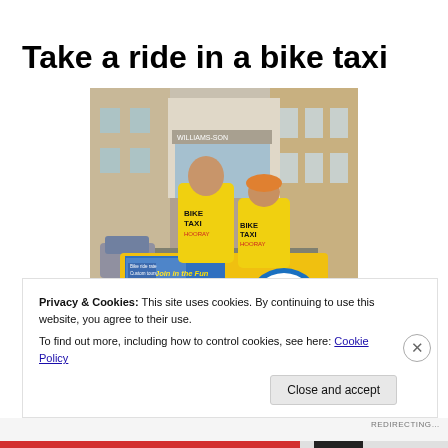Take a ride in a bike taxi
[Figure (photo): Photo of two people on a bike taxi from behind, wearing yellow 'BIKE TAXI' shirts, riding through a narrow city street. The back of the bike taxi has a bright yellow cargo box with MoonPie Store advertising: 'Join in the Fun at the MoonPie Store!' with colorful graphics.]
Privacy & Cookies: This site uses cookies. By continuing to use this website, you agree to their use.
To find out more, including how to control cookies, see here: Cookie Policy